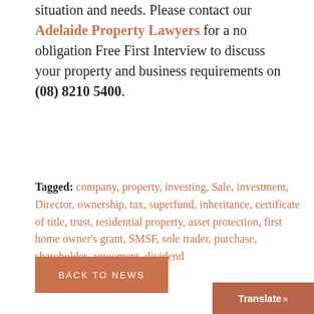situation and needs. Please contact our Adelaide Property Lawyers for a no obligation Free First Interview to discuss your property and business requirements on (08) 8210 5400.
Tagged: company, property, investing, Sale, investment, Director, ownership, tax, superfund, inheritance, certificate of title, trust, residential property, asset protection, first home owner's grant, SMSF, sole trader, purchase, shareholder, agreement, dividend
BACK TO NEWS
Translate »